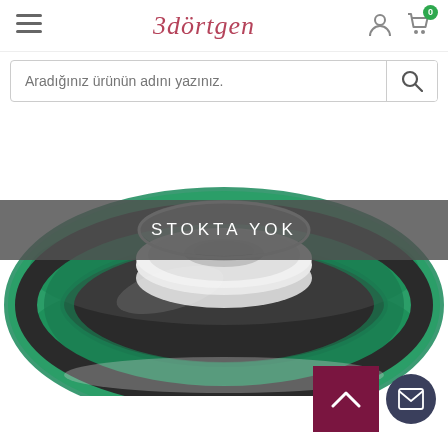3dörtgen
Aradığınız ürünün adını yazınız.
[Figure (photo): A spool of translucent green 3D printing filament on a white background with a 'STOKTA YOK' (out of stock) banner overlaid in the center.]